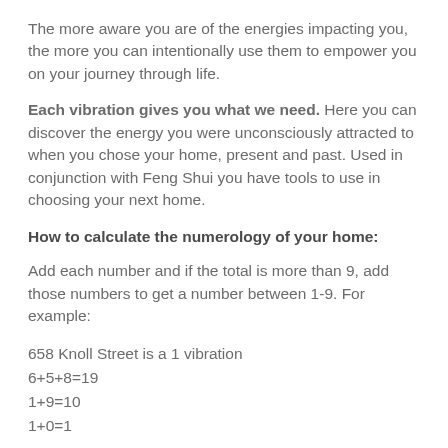The more aware you are of the energies impacting you, the more you can intentionally use them to empower you on your journey through life.
Each vibration gives you what we need. Here you can discover the energy you were unconsciously attracted to when you chose your home, present and past. Used in conjunction with Feng Shui you have tools to use in choosing your next home.
How to calculate the numerology of your home:
Add each number and if the total is more than 9, add those numbers to get a number between 1-9. For example:
658 Knoll Street is a 1 vibration
6+5+8=19
1+9=10
1+0=1
1006 Wellington Road is a 7 vibration